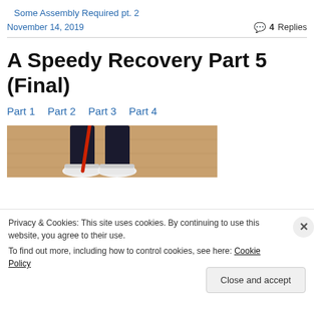Some Assembly Required pt. 2
November 14, 2019
4 Replies
A Speedy Recovery Part 5 (Final)
Part 1   Part 2   Part 3   Part 4
[Figure (photo): Photograph showing a person's feet in sneakers on a wooden floor with a red object]
Privacy & Cookies: This site uses cookies. By continuing to use this website, you agree to their use.
To find out more, including how to control cookies, see here: Cookie Policy
Close and accept